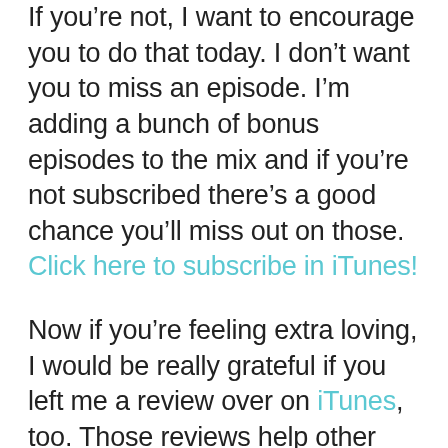If you're not, I want to encourage you to do that today. I don't want you to miss an episode. I'm adding a bunch of bonus episodes to the mix and if you're not subscribed there's a good chance you'll miss out on those. Click here to subscribe in iTunes!
Now if you're feeling extra loving, I would be really grateful if you left me a review over on iTunes, too. Those reviews help other people find my podcast and they're also fun for me to go in an read. Just